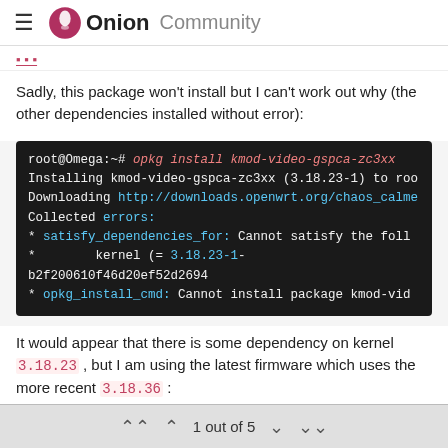Onion Community
Sadly, this package won't install but I can't work out why (the other dependencies installed without error):
[Figure (screenshot): Terminal output showing: root@Omega:~# opkg install kmod-video-gspca-zc3xx, Installing kmod-video-gspca-zc3xx (3.18.23-1) to roo, Downloading http://downloads.openwrt.org/chaos_calme, Collected errors:, * satisfy_dependencies_for: Cannot satisfy the foll, * kernel (= 3.18.23-1-b2f200610f46d20ef52d2694, * opkg_install_cmd: Cannot install package kmod-vid]
It would appear that there is some dependency on kernel 3.18.23, but I am using the latest firmware which uses the more recent 3.18.36:
[Figure (screenshot): Terminal output showing: root@Omega:~# uname -a, Linux Omega 3.18.36 #1 Fri Jul 8 10:37:15 UTC 2016]
1 out of 5